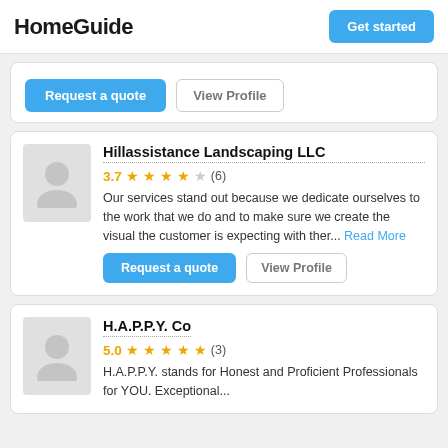HomeGuide | Get started
Request a quote | View Profile
Hillassistance Landscaping LLC
3.7 (6) Our services stand out because we dedicate ourselves to the work that we do and to make sure we create the visual the customer is expecting with ther... Read More
Request a quote | View Profile
H.A.P.P.Y. Co
5.0 (3) H.A.P.P.Y. stands for Honest and Proficient Professionals for YOU. Exceptional...